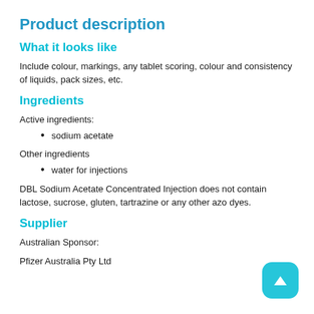Product description
What it looks like
Include colour, markings, any tablet scoring, colour and consistency of liquids, pack sizes, etc.
Ingredients
Active ingredients:
sodium acetate
Other ingredients
water for injections
DBL Sodium Acetate Concentrated Injection does not contain lactose, sucrose, gluten, tartrazine or any other azo dyes.
Supplier
Australian Sponsor:
Pfizer Australia Pty Ltd